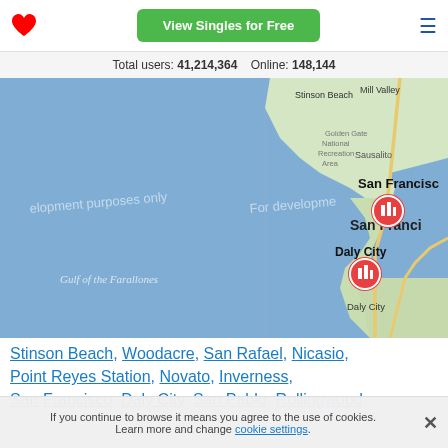[Figure (screenshot): Dating site header with red heart logo, green 'View Singles for Free' button, and hamburger menu icon]
Total users: 41,214,364    Online: 148,144
[Figure (map): Google Maps view of San Francisco Bay Area coastline showing Stinson Beach, Mill Valley, Sausalito, San Francisco, Daly City labels, and two orange map pins with building icons. Watermark: 'For development purposes only'. Water area labeled 'Gulf of the Farallones'.]
Stinson Beach, Woodacre, San Rafael, Nicasio, Point Reyes Station, Novato, Inverness, San Francisco, Daly City, San Pablo, Rollingwood, El Cerrito, East Richmond Heights, El Sobrante,
If you continue to browse it means you agree to the use of cookies. Learn more and change cookie settings.